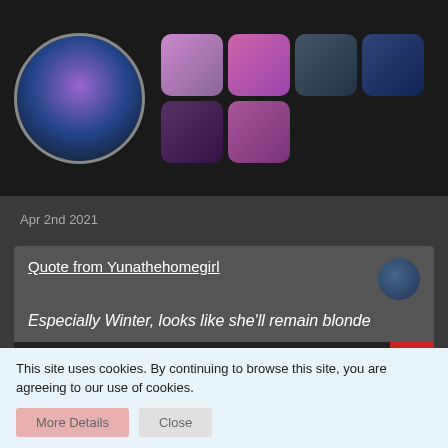[Figure (photo): Dark background with profile circle image (glowing purple/blue ring effect) on the left, and a grid of 6 photo thumbnails on the right showing K-pop girl group members]
Apr 2nd 2021
Quote from Yunathehomegirl
Especially Winter, looks like she'll remain blonde
External Content
twitter.com
Content embedded from external sources will not be displayed without your consent
This site uses cookies. By continuing to browse this site, you are agreeing to our use of cookies.
More Details
Close